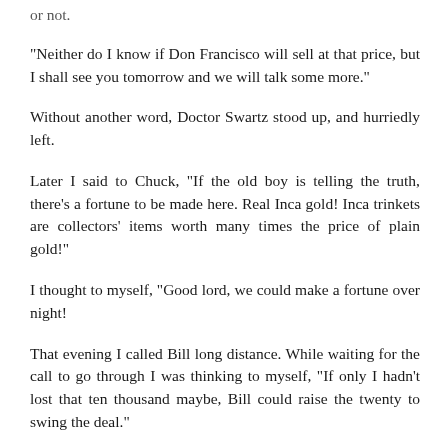or not.
“Neither do I know if Don Francisco will sell at that price, but I shall see you tomorrow and we will talk some more.”
Without another word, Doctor Swartz stood up, and hurriedly left.
Later I said to Chuck, “If the old boy is telling the truth, there’s a fortune to be made here. Real Inca gold! Inca trinkets are collectors’ items worth many times the price of plain gold!”
I thought to myself, “Good lord, we could make a fortune over night!
That evening I called Bill long distance. While waiting for the call to go through I was thinking to myself, “If only I hadn’t lost that ten thousand maybe, Bill could raise the twenty to swing the deal.”